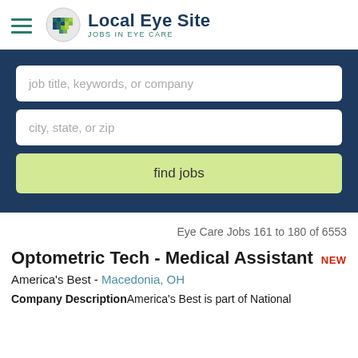Local Eye Site - JOBS IN EYE CARE
[Figure (screenshot): Job search interface with two text input fields (job title/keywords/company and city/state/zip) and a find jobs button, on a dark navy background]
Eye Care Jobs 161 to 180 of 6553
Optometric Tech - Medical Assistant NEW
America's Best - Macedonia, OH
Company DescriptionAmerica's Best is part of National